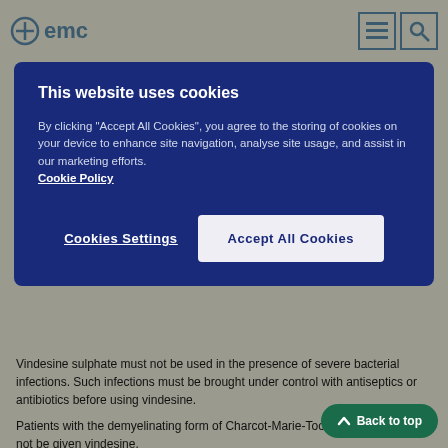emc
[Figure (screenshot): Cookie consent banner with dark blue background. Title: 'This website uses cookies'. Body text: 'By clicking "Accept All Cookies", you agree to the storing of cookies on your device to enhance site navigation, analyse site usage, and assist in our marketing efforts. Cookie Policy'. Buttons: 'Cookies Settings' and 'Accept All Cookies'.]
Vindesine sulphate must not be used in the presence of severe bacterial infections. Such infections must be brought under control with antiseptics or antibiotics before using vindesine.
Patients with the demyelinating form of Charcot-Marie-Tooth syndrome should not be given vindesine.
Hypersensitivity to vindesine sulphate or to any of the excipients
4.4 Special warnings and precautions for use
This preparation is for intravenous use only. It should be administered by individuals experienced in the administration of vindesine sulphate. The